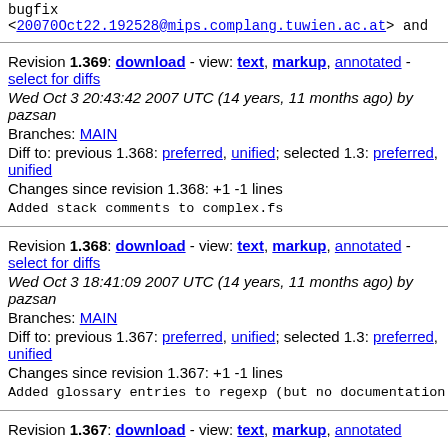bugfix <20070Oct22.192528@mips.complang.tuwien.ac.at> and
Revision 1.369: download - view: text, markup, annotated - select for diffs
Wed Oct 3 20:43:42 2007 UTC (14 years, 11 months ago) by pazsan
Branches: MAIN
Diff to: previous 1.368: preferred, unified; selected 1.3: preferred, unified
Changes since revision 1.368: +1 -1 lines
Added stack comments to complex.fs
Revision 1.368: download - view: text, markup, annotated - select for diffs
Wed Oct 3 18:41:09 2007 UTC (14 years, 11 months ago) by pazsan
Branches: MAIN
Diff to: previous 1.367: preferred, unified; selected 1.3: preferred, unified
Changes since revision 1.367: +1 -1 lines
Added glossary entries to regexp (but no documentation ch
Revision 1.367: download - view: text, markup, annotated